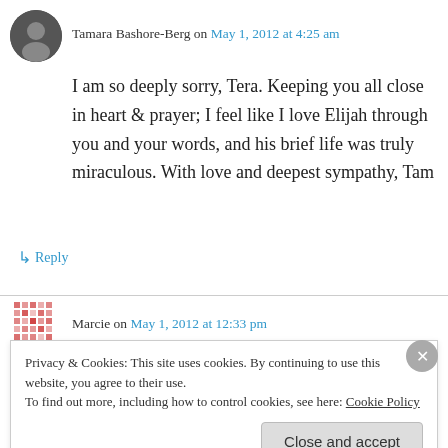Tamara Bashore-Berg on May 1, 2012 at 4:25 am
I am so deeply sorry, Tera. Keeping you all close in heart & prayer; I feel like I love Elijah through you and your words, and his brief life was truly miraculous. With love and deepest sympathy, Tam
↳ Reply
Marcie on May 1, 2012 at 12:33 pm
Privacy & Cookies: This site uses cookies. By continuing to use this website, you agree to their use.
To find out more, including how to control cookies, see here: Cookie Policy
Close and accept